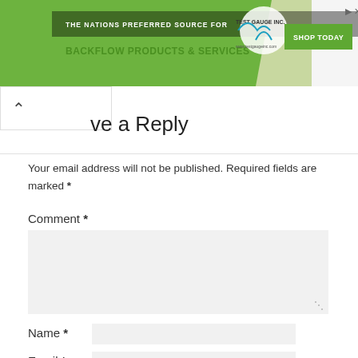[Figure (screenshot): Advertisement banner for Test Gauge Inc. with green diagonal background, text 'THE NATIONS PREFERRED SOURCE FOR BACKFLOW PRODUCTS & SERVICES', logo, and 'SHOP TODAY' green button]
Leave a Reply
Your email address will not be published. Required fields are marked *
Comment *
Name *
Email *